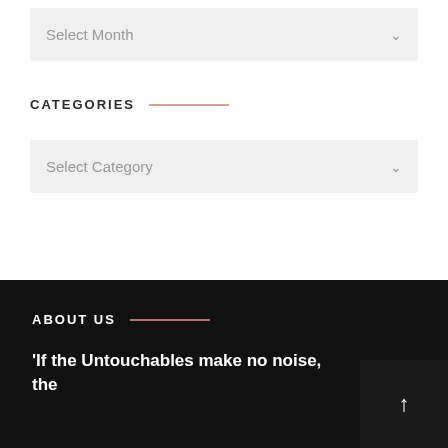[Figure (screenshot): Dropdown select box labeled 'Select Month' with chevron arrow on right, light gray background]
CATEGORIES
[Figure (screenshot): Dropdown select box labeled 'Select Category' with chevron arrow on right, light gray background]
ABOUT US
'If the Untouchables make no noise, the